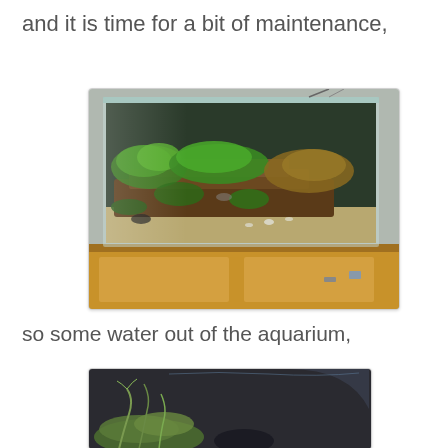and it is time for a bit of maintenance,
[Figure (photo): A large aquarium filled with green moss, aquatic plants attached to driftwood, sitting on a wooden cabinet stand. The tank appears overgrown and in need of maintenance.]
so some water out of the aquarium,
[Figure (photo): Partial view of another aquarium or bucket with aquatic plants visible, dark background.]